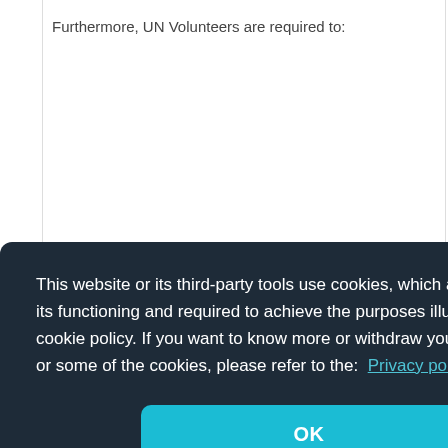Furthermore, UN Volunteers are required to:
[Figure (screenshot): Cookie consent modal dialog with dark background (#1e2b38). Contains text: 'This website or its third-party tools use cookies, which are necessary to its functioning and required to achieve the purposes illustrated in the cookie policy. If you want to know more or withdraw your consent to all or some of the cookies, please refer to the: Privacy policy'. Below the text is a teal/cyan 'OK' button.]
nd
t in
t